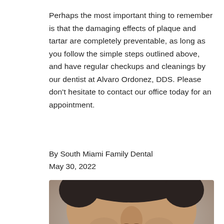Perhaps the most important thing to remember is that the damaging effects of plaque and tartar are completely preventable, as long as you follow the simple steps outlined above, and have regular checkups and cleanings by our dentist at Alvaro Ordonez, DDS. Please don’t hesitate to contact our office today for an appointment.
By South Miami Family Dental
May 30, 2022
[Figure (photo): Close-up photo of a man’s lower face showing his nose, mouth open revealing teeth, with dark curly hair visible at top. Over the image is a blue ‘Ad Opt Out’ button and a scroll-up arrow button.]